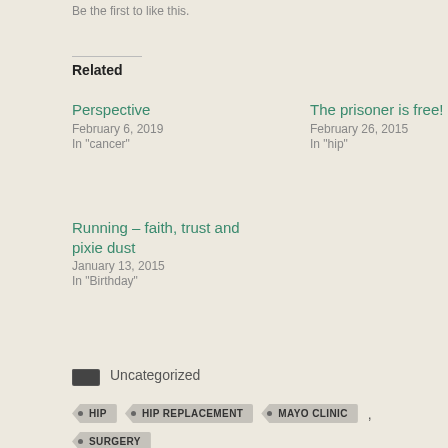Be the first to like this.
Related
Perspective
February 6, 2019
In "cancer"
The prisoner is free!
February 26, 2015
In "hip"
Running – faith, trust and pixie dust
January 13, 2015
In "Birthday"
Uncategorized
HIP
HIP REPLACEMENT
MAYO CLINIC
SURGERY